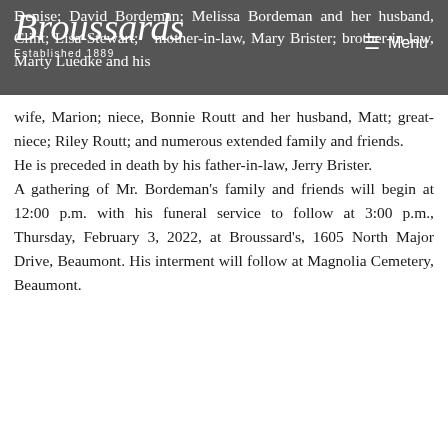Denise; David Bordeman; Melissa Bordeman and her husband, Clint; Lisa Stewart; mother-in-law, Mary Brister; brother-in-law, Marty Luedke and his
wife, Marion; niece, Bonnie Routt and her husband, Matt; great-niece; Riley Routt; and numerous extended family and friends.
He is preceded in death by his father-in-law, Jerry Brister.
A gathering of Mr. Bordeman's family and friends will begin at 12:00 p.m. with his funeral service to follow at 3:00 p.m., Thursday, February 3, 2022, at Broussard's, 1605 North Major Drive, Beaumont. His interment will follow at Magnolia Cemetery, Beaumont.